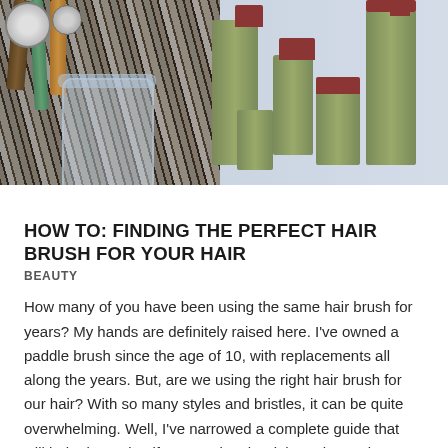[Figure (photo): Photo showing hair brushes in a clear cylindrical holder on the left side, and green hair product bottles with dark red caps arranged on the right side, against a light blue-grey background.]
HOW TO: FINDING THE PERFECT HAIR BRUSH FOR YOUR HAIR
BEAUTY
How many of you have been using the same hair brush for years? My hands are definitely raised here. I've owned a paddle brush since the age of 10, with replacements all along the years. But, are we using the right hair brush for our hair? With so many styles and bristles, it can be quite overwhelming. Well, I've narrowed a complete guide that will help determine if we're using the right tool to make our tresses